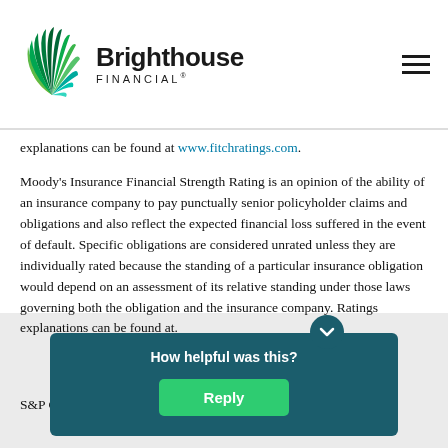Brighthouse Financial
explanations can be found at www.fitchratings.com.
Moody's Insurance Financial Strength Rating is an opinion of the ability of an insurance company to pay punctually senior policyholder claims and obligations and also reflect the expected financial loss suffered in the event of default. Specific obligations are considered unrated unless they are individually rated because the standing of a particular insurance obligation would depend on an assessment of its relative standing under those laws governing both the obligation and the insurance company. Ratings explanations can be found at [url].
S&P Global Ratings (formerly Standard & Poor's) is a forward... security